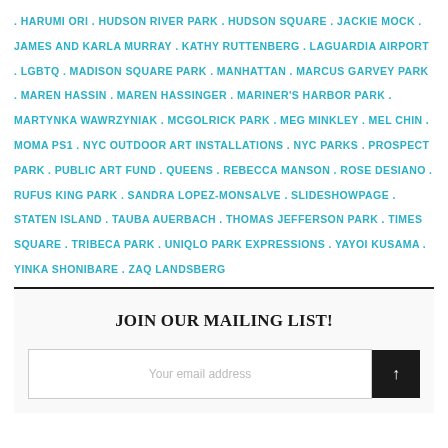. HARUMI ORI . HUDSON RIVER PARK . HUDSON SQUARE . JACKIE MOCK . JAMES AND KARLA MURRAY . KATHY RUTTENBERG . LAGUARDIA AIRPORT . LGBTQ . MADISON SQUARE PARK . MANHATTAN . MARCUS GARVEY PARK . MAREN HASSIN . MAREN HASSINGER . MARINER'S HARBOR PARK . MARTYNKA WAWRZYNIAK . MCGOLRICK PARK . MEG MINKLEY . MEL CHIN . MOMA PS1 . NYC OUTDOOR ART INSTALLATIONS . NYC PARKS . PROSPECT PARK . PUBLIC ART FUND . QUEENS . REBECCA MANSON . ROSE DESIANO . RUFUS KING PARK . SANDRA LOPEZ-MONSALVE . SLIDESHOWPAGE . STATEN ISLAND . TAUBA AUERBACH . THOMAS JEFFERSON PARK . TIMES SQUARE . TRIBECA PARK . UNIQLO PARK EXPRESSIONS . YAYOI KUSAMA . YINKA SHONIBARE . ZAQ LANDSBERG
JOIN OUR MAILING LIST!
Your email address